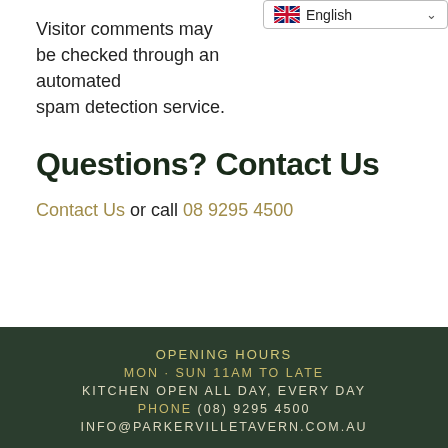[Figure (screenshot): Language selector dropdown showing English with UK flag]
Visitor comments may be checked through an automated spam detection service.
Questions? Contact Us
Contact Us or call 08 9295 4500
OPENING HOURS
MON - SUN 11AM TO LATE
KITCHEN OPEN ALL DAY, EVERY DAY
PHONE (08) 9295 4500
INFO@PARKERVILLETAVERN.COM.AU